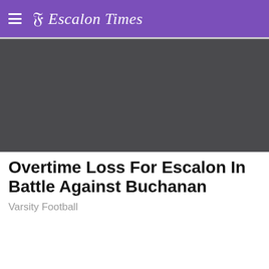Escalon Times
[Figure (photo): Dark/black rectangular photo placeholder for article hero image]
Overtime Loss For Escalon In Battle Against Buchanan
Varsity Football